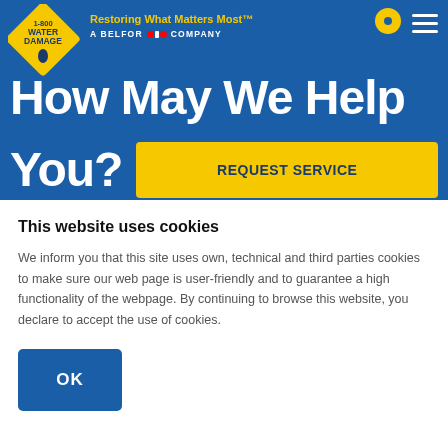[Figure (logo): 1-800 Water Damage logo — yellow diamond shape with blue text '1-800 WATER DAMAGE' and a blue water drop icon]
Restoring What Matters Most™
A BELFOR (•) COMPANY
How May We Help You?
REQUEST SERVICE
This website uses cookies
We inform you that this site uses own, technical and third parties cookies to make sure our web page is user-friendly and to guarantee a high functionality of the webpage. By continuing to browse this website, you declare to accept the use of cookies.
OK